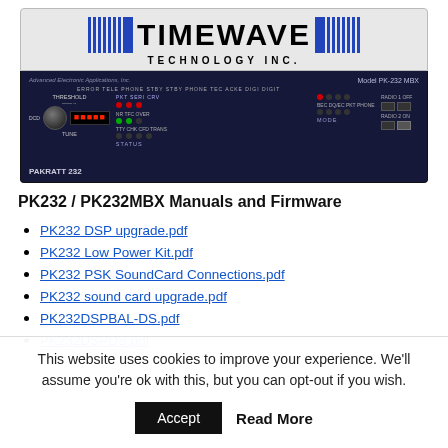[Figure (photo): Timewave Technology Inc. logo banner above a PAKRATT 232 / Model PK-232 MBX device panel with controls, LEDs, and display]
PK232 / PK232MBX Manuals and Firmware
PK232 DSP upgrade.pdf
PK232 Low Power Kit.pdf
PK232 PSK SoundCard Connections.pdf
PK232 sound card upgrade.pdf
PK232DSPBAL-DS.pdf
PK232DSPDS.pdf
This website uses cookies to improve your experience. We'll assume you're ok with this, but you can opt-out if you wish.
Accept
Read More